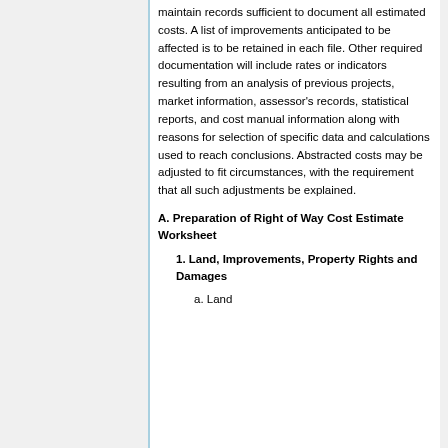maintain records sufficient to document all estimated costs. A list of improvements anticipated to be affected is to be retained in each file. Other required documentation will include rates or indicators resulting from an analysis of previous projects, market information, assessor's records, statistical reports, and cost manual information along with reasons for selection of specific data and calculations used to reach conclusions. Abstracted costs may be adjusted to fit circumstances, with the requirement that all such adjustments be explained.
A. Preparation of Right of Way Cost Estimate Worksheet
1. Land, Improvements, Property Rights and Damages
a. Land